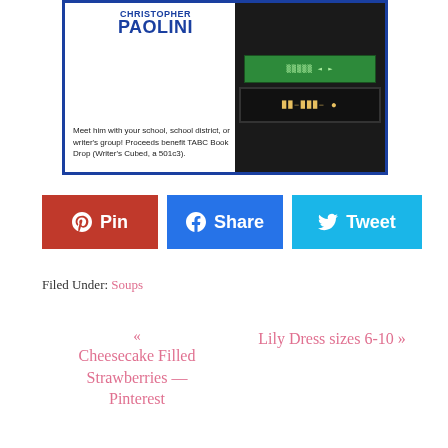[Figure (illustration): Christopher Paolini book banner with blue border. Shows author name 'CHRISTOPHER PAOLINI' in bold blue text, stacked books on right side, and tagline 'Meet him with your school, school district, or writer's group! Proceeds benefit TABC Book Drop (Writer's Cubed, a 501c3).']
[Figure (infographic): Three social sharing buttons: red Pin button with heart icon, blue Share button with Facebook icon, cyan Tweet button with Twitter bird icon]
Filed Under: Soups
« Cheesecake Filled Strawberries — Pinterest
Lily Dress sizes 6-10 »